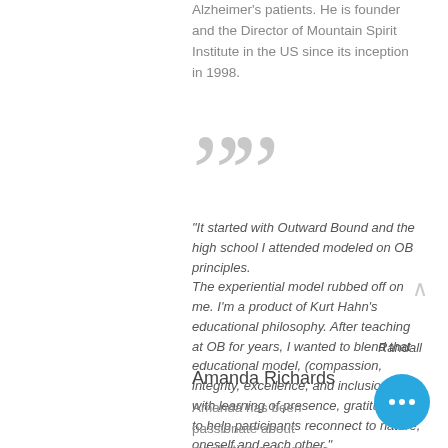Alzheimer's patients. He is founder and the Director of Mountain Spirit Institute in the US since its inception in 1998.
"It started with Outward Bound and the high school I attended modeled on OB principles.
The experiential model rubbed off on me. I'm a product of Kurt Hahn's educational philosophy. After teaching at OB for years, I wanted to blend that educational model, (compassion, integrity, excellence, and inclusion), with learning of presence, gratitude and to help participants reconnect to nature, oneself and each other."
Randall
Amanda Richards
Amanda has been passionate about meditation and organic food her whole life, and here at Mountain Spirit all of